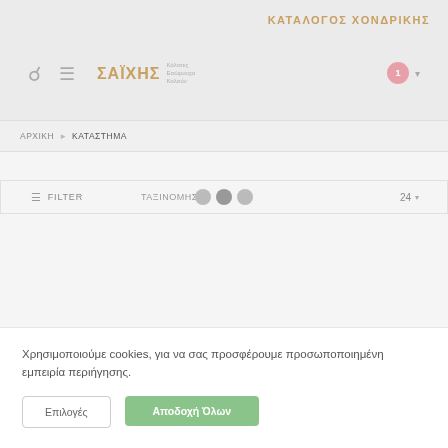ΚΑΤΑΛΟΓΟΣ ΧΟΝΔΡΙΚΗΣ
[Figure (logo): Website logo with Greek text and navigation icons including search, menu, logo, cart]
ΑΡΧΙΚΗ > ΚΑΤΑΣΤΗΜΑ
FILTER   ΤΑΞΙΝΟΜΗΣΗ   24
Χρησιμοποιούμε cookies, για να σας προσφέρουμε προσωποποιημένη εμπειρία περιήγησης.
Επιλογές
Αποδοχή Όλων